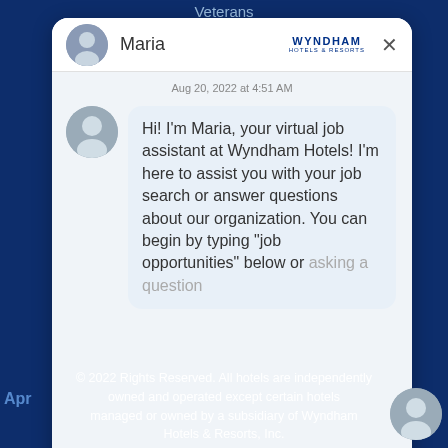Veterans
Maria
Aug 20, 2022 at 4:51 AM
Hi! I'm Maria, your virtual job assistant at Wyndham Hotels! I'm here to assist you with your job search or answer questions about our organization. You can begin by typing "job opportunities" below or asking a question
Write a reply...
Terms | Powered by Paradox
Apl
© 2022 Rights Reserved. All hotels are independently owned and operated except certain hotels managed or owned by a subsidiary of Wyndham Hotels & Resorts, Inc.